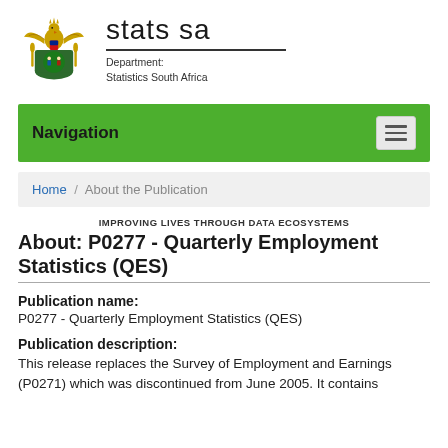[Figure (logo): Stats SA / Statistics South Africa coat of arms logo with eagle and text 'stats sa' and 'Department: Statistics South Africa']
Navigation
Home / About the Publication
IMPROVING LIVES THROUGH DATA ECOSYSTEMS
About: P0277 - Quarterly Employment Statistics (QES)
Publication name:
P0277 - Quarterly Employment Statistics (QES)
Publication description:
This release replaces the Survey of Employment and Earnings (P0271) which was discontinued from June 2005. It contains